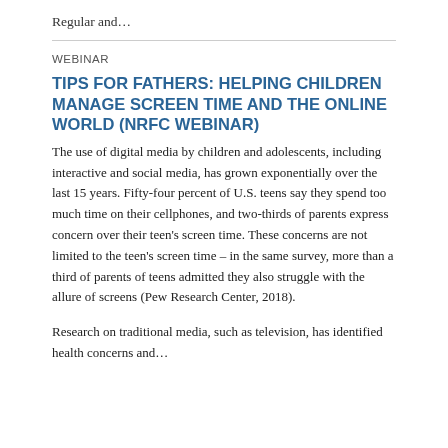Regular and…
WEBINAR
TIPS FOR FATHERS: HELPING CHILDREN MANAGE SCREEN TIME AND THE ONLINE WORLD (NRFC WEBINAR)
The use of digital media by children and adolescents, including interactive and social media, has grown exponentially over the last 15 years. Fifty-four percent of U.S. teens say they spend too much time on their cellphones, and two-thirds of parents express concern over their teen's screen time. These concerns are not limited to the teen's screen time – in the same survey, more than a third of parents of teens admitted they also struggle with the allure of screens (Pew Research Center, 2018).
Research on traditional media, such as television, has identified health concerns and…